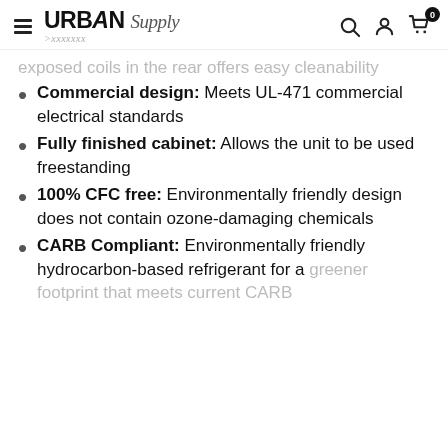Urban Supply
exposed coils in the rear offers easy cleanability
Commercial design: Meets UL-471 commercial electrical standards
Fully finished cabinet: Allows the unit to be used freestanding
100% CFC free: Environmentally friendly design does not contain ozone-damaging chemicals
CARB Compliant: Environmentally friendly hydrocarbon-based refrigerant for a greener footprint that meets current CARB...